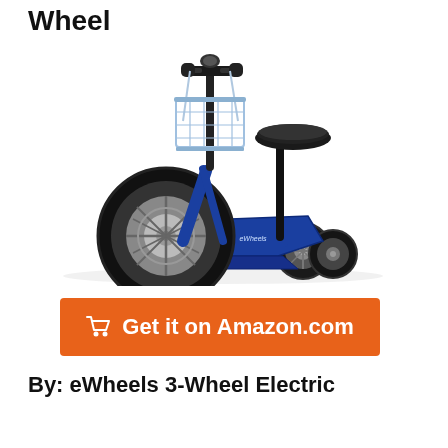Wheel
[Figure (photo): Blue eWheels 3-wheel electric mobility scooter with large front wheel, blue wire basket, and black seat]
Get it on Amazon.com
By: eWheels 3-Wheel Electric